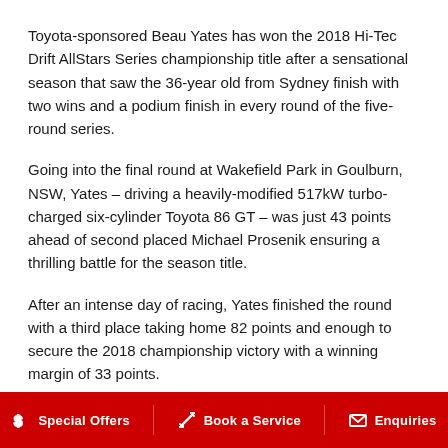Toyota-sponsored Beau Yates has won the 2018 Hi-Tec Drift AllStars Series championship title after a sensational season that saw the 36-year old from Sydney finish with two wins and a podium finish in every round of the five-round series.
Going into the final round at Wakefield Park in Goulburn, NSW, Yates – driving a heavily-modified 517kW turbo-charged six-cylinder Toyota 86 GT – was just 43 points ahead of second placed Michael Prosenik ensuring a thrilling battle for the season title.
After an intense day of racing, Yates finished the round with a third place taking home 82 points and enough to secure the 2018 championship victory with a winning margin of 33 points.
It couldn't have liked to finish the season off with a bett...
Special Offers   Book a Service   Enquiries